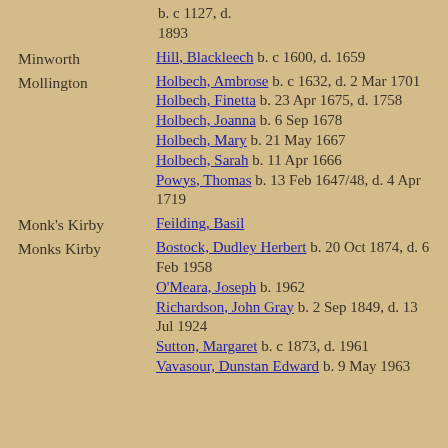b. c 1127, d. 1893
Minworth — Hill, Blackleech b. c 1600, d. 1659
Mollington — Holbech, Ambrose b. c 1632, d. 2 Mar 1701; Holbech, Finetta b. 23 Apr 1675, d. 1758; Holbech, Joanna b. 6 Sep 1678; Holbech, Mary b. 21 May 1667; Holbech, Sarah b. 11 Apr 1666; Powys, Thomas b. 13 Feb 1647/48, d. 4 Apr 1719
Monk's Kirby — Feilding, Basil
Monks Kirby — Bostock, Dudley Herbert b. 20 Oct 1874, d. 6 Feb 1958; O'Meara, Joseph b. 1962; Richardson, John Gray b. 2 Sep 1849, d. 13 Jul 1924; Sutton, Margaret b. c 1873, d. 1961; Vavasour, Dunstan Edward b. 9 May 1963